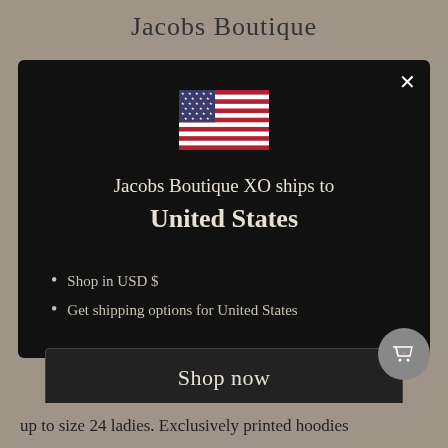Jacobs Boutique
[Figure (illustration): US flag emoji/icon displayed in center of modal]
Jacobs Boutique XO ships to United States
Shop in USD $
Get shipping options for United States
Shop now
Change shipping country
up to size 24 ladies. Exclusively printed hoodies